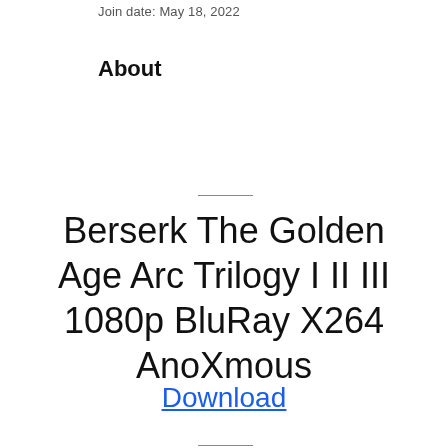Join date: May 18, 2022
About
Berserk The Golden Age Arc Trilogy I II III 1080p BluRay X264 AnoXmous
Download